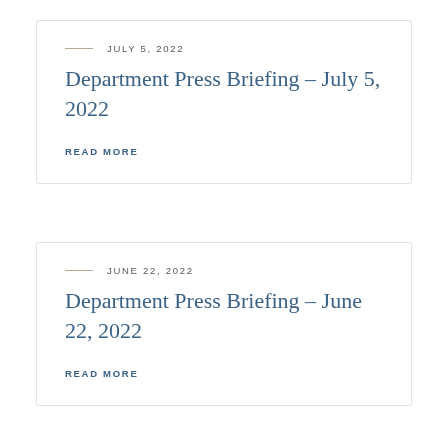JULY 5, 2022
Department Press Briefing – July 5, 2022
READ MORE
JUNE 22, 2022
Department Press Briefing – June 22, 2022
READ MORE